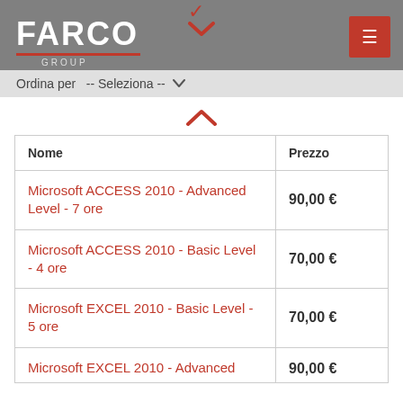FARCO GROUP
Ordina per  -- Seleziona --
| Nome | Prezzo |
| --- | --- |
| Microsoft ACCESS 2010 - Advanced Level - 7 ore | 90,00 € |
| Microsoft ACCESS 2010 - Basic Level - 4 ore | 70,00 € |
| Microsoft EXCEL 2010 - Basic Level - 5 ore | 70,00 € |
| Microsoft EXCEL 2010 - Advanced | 90,00 € |